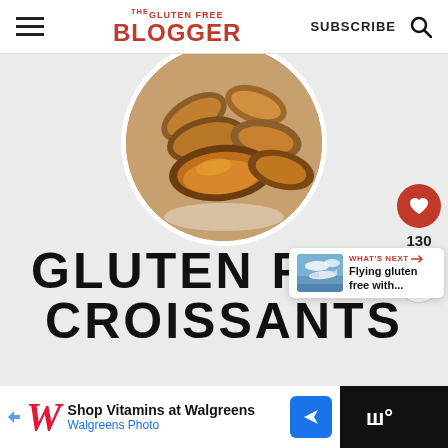THE GLUTEN FREE BLOGGER | SUBSCRIBE
[Figure (photo): Circular cropped photo of multiple golden-brown gluten free croissants on a white surface]
GLUTEN FREE CROISSANTS
[Figure (infographic): Heart/like button showing 130 likes, and a share button on the right sidebar]
[Figure (infographic): What's Next card showing a thumbnail of an airplane with text: Flying gluten free with...]
[Figure (infographic): Advertisement bar: Shop Vitamins at Walgreens / Walgreens Photo with navigation icon]